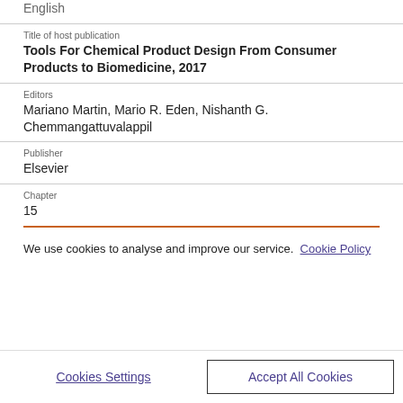English
Title of host publication
Tools For Chemical Product Design From Consumer Products to Biomedicine, 2017
Editors
Mariano Martin, Mario R. Eden, Nishanth G. Chemmangattuvalappil
Publisher
Elsevier
Chapter
15
We use cookies to analyse and improve our service. Cookie Policy
Cookies Settings
Accept All Cookies